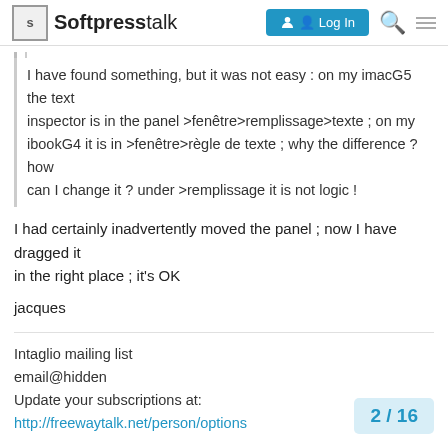Softpresstalk — Log In
I have found something, but it was not easy : on my imacG5 the text
inspector is in the panel >fenêtre>remplissage>texte ; on my ibookG4 it is in >fenêtre>règle de texte ; why the difference ? how
can I change it ? under >remplissage it is not logic !
I had certainly inadvertently moved the panel ; now I have dragged it
in the right place ; it's OK
jacques
Intaglio mailing list
email@hidden
Update your subscriptions at:
http://freewaytalk.net/person/options
2 / 16